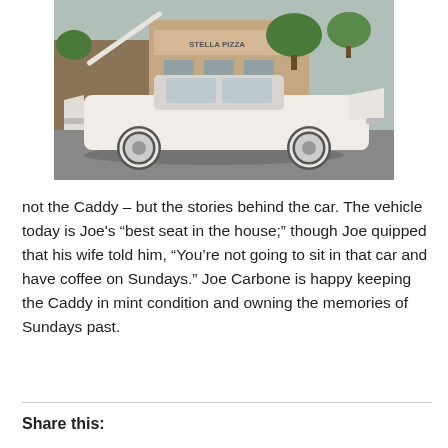[Figure (photo): A white vintage Cadillac convertible parked on a street with its hood open, in front of a Stella Pizza shop. Trees and other storefronts are visible in the background.]
not the Caddy – but the stories behind the car. The vehicle today is Joe's “best seat in the house;” though Joe quipped that his wife told him, “You’re not going to sit in that car and have coffee on Sundays.” Joe Carbone is happy keeping the Caddy in mint condition and owning the memories of Sundays past.
Share this: